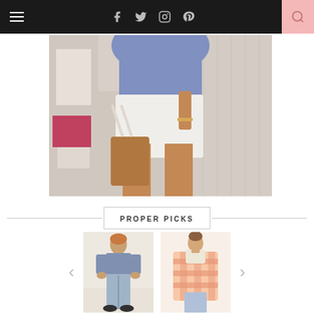Navigation bar with hamburger menu, social icons (Facebook, Twitter, Instagram, Pinterest), and search button
[Figure (photo): Fashion photo of a person wearing white shorts and a blue top, holding a bag, outdoors on a dock]
PROPER PICKS
[Figure (photo): Product photo of a male model wearing light blue jeans and a denim shirt]
[Figure (photo): Product photo of a female model wearing a pink plaid oversized scarf/coat with jeans]